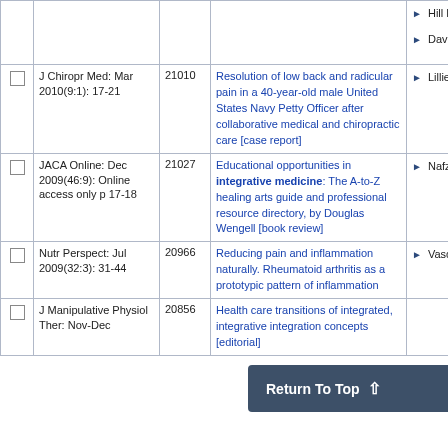|  | Journal | ID | Title | Author |
| --- | --- | --- | --- | --- |
|  |  |  |  | Hill D
Davis L |
|  | J Chiropr Med: Mar 2010(9:1): 17-21 | 21010 | Resolution of low back and radicular pain in a 40-year-old male United States Navy Petty Officer after collaborative medical and chiropractic care [case report] | Lillie GR |
|  | JACA Online: Dec 2009(46:9): Online access only p 17-18 | 21027 | Educational opportunities in integrative medicine: The A-to-Z healing arts guide and professional resource directory, by Douglas Wengell [book review] | Nafziger R |
|  | Nutr Perspect: Jul 2009(32:3): 31-44 | 20966 | Reducing pain and inflammation naturally. Rheumatoid arthritis as a prototypic pattern of inflammation | Vasquez A |
|  | J Manipulative Physiol Ther: Nov-Dec | 20856 | Health care transitions of integrated, integrative integration concepts [editorial] |  |